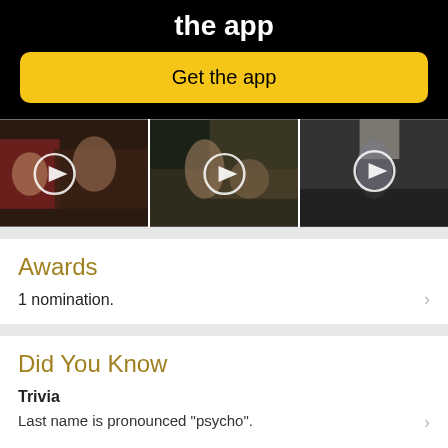the app
Get the app
[Figure (screenshot): Three video thumbnails side by side showing movie scenes with white play button circles overlaid]
Awards
1 nomination.
Did You Know
Trivia
Last name is pronounced "psycho".